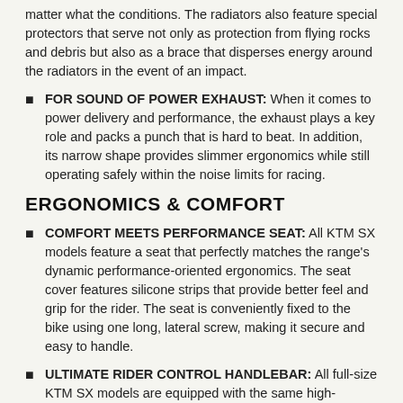matter what the conditions. The radiators also feature special protectors that serve not only as protection from flying rocks and debris but also as a brace that disperses energy around the radiators in the event of an impact.
FOR SOUND OF POWER EXHAUST: When it comes to power delivery and performance, the exhaust plays a key role and packs a punch that is hard to beat. In addition, its narrow shape provides slimmer ergonomics while still operating safely within the noise limits for racing.
ERGONOMICS & COMFORT
COMFORT MEETS PERFORMANCE SEAT: All KTM SX models feature a seat that perfectly matches the range's dynamic performance-oriented ergonomics. The seat cover features silicone strips that provide better feel and grip for the rider. The seat is conveniently fixed to the bike using one long, lateral screw, making it secure and easy to handle.
ULTIMATE RIDER CONTROL HANDLEBAR: All full-size KTM SX models are equipped with the same high-